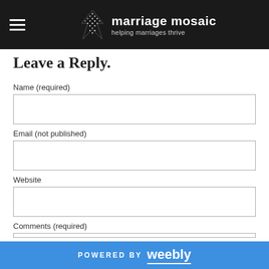marriage mosaic — helping marriages thrive
Leave a Reply.
Name (required)
Email (not published)
Website
Comments (required)
POWERED BY weebly